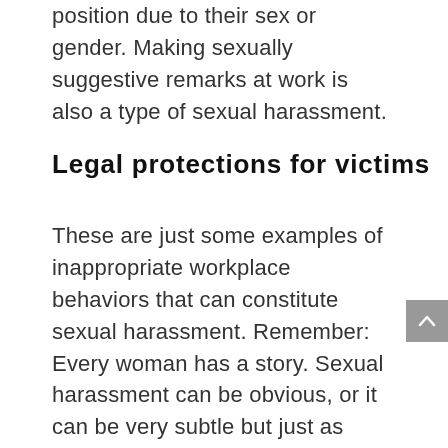position due to their sex or gender. Making sexually suggestive remarks at work is also a type of sexual harassment.
Legal protections for victims
These are just some examples of inappropriate workplace behaviors that can constitute sexual harassment. Remember: Every woman has a story. Sexual harassment can be obvious, or it can be very subtle but just as harmful. It's important to understand that victims of such conduct have rights under the law – and the power to hold perpetrators accountable.